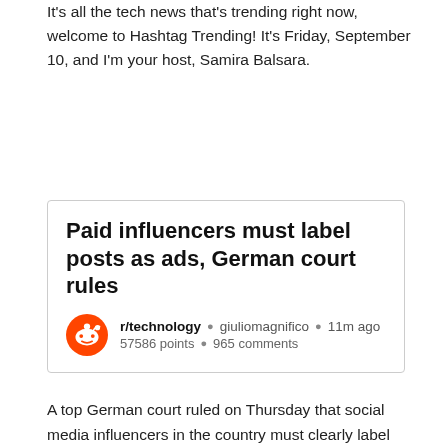It's all the tech news that's trending right now, welcome to Hashtag Trending! It's Friday, September 10, and I'm your host, Samira Balsara.
[Figure (screenshot): Reddit post card showing headline 'Paid influencers must label posts as ads, German court rules' from r/technology by giuliomagnifico, 11m ago, 57586 points, 965 comments]
A top German court ruled on Thursday that social media influencers in the country must clearly label posts when they include advertisements. The case came to court after one fitness influencer failed to make their product advertisement clear when promoting a brand of jam, according to an article from Reuters. The case came amidst a period of heightened awareness of social media advertising, with countries across Europe applying